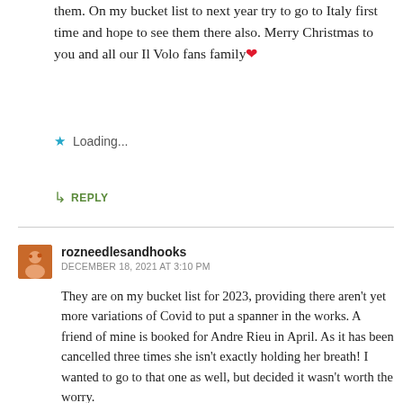them. On my bucket list to next year try to go to Italy first time and hope to see them there also. Merry Christmas to you and all our Il Volo fans family ❤
Loading...
↳ REPLY
rozneedlesandhooks
DECEMBER 18, 2021 AT 3:10 PM
They are on my bucket list for 2023, providing there aren't yet more variations of Covid to put a spanner in the works. A friend of mine is booked for Andre Rieu in April. As it has been cancelled three times she isn't exactly holding her breath! I wanted to go to that one as well, but decided it wasn't worth the worry.
Merry Christmas to you too. 😉